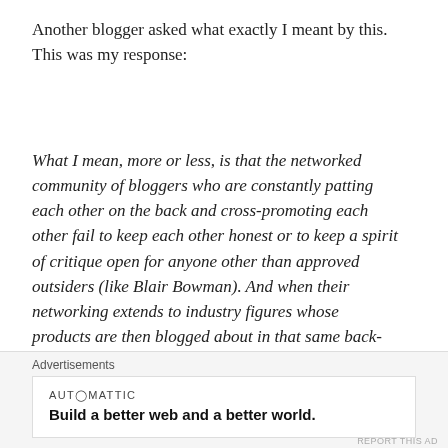Another blogger asked what exactly I meant by this. This was my response:
What I mean, more or less, is that the networked community of bloggers who are constantly patting each other on the back and cross-promoting each other fail to keep each other honest or to keep a spirit of critique open for anyone other than approved outsiders (like Blair Bowman). And when their networking extends to industry figures whose products are then blogged about in that same back-patting, non-critical manner then there's just a hint of (soft) corruption about all this fuzzy niceness too.
I do understand why the professionals–for whom this is
Advertisements
[Figure (other): Automattic advertisement banner with text: AUTOMATTIC — Build a better web and a better world.]